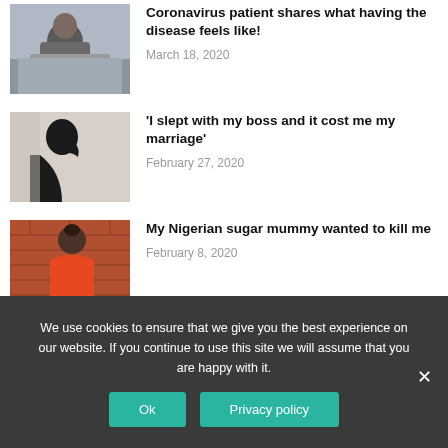[Figure (photo): Person sitting on bed looking unwell, holding hands to face]
Coronavirus patient shares what having the disease feels like!
March 18, 2020
[Figure (photo): Silhouette of a person in profile against a light background]
'I slept with my boss and it cost me my marriage'
February 27, 2020
[Figure (photo): Woman in orange dress standing in front of a brick wall]
My Nigerian sugar mummy wanted to kill me
February 8, 2020
We use cookies to ensure that we give you the best experience on our website. If you continue to use this site we will assume that you are happy with it.